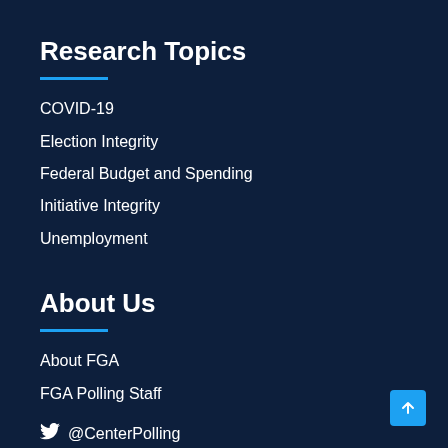Research Topics
COVID-19
Election Integrity
Federal Budget and Spending
Initiative Integrity
Unemployment
About Us
About FGA
FGA Polling Staff
@CenterPolling